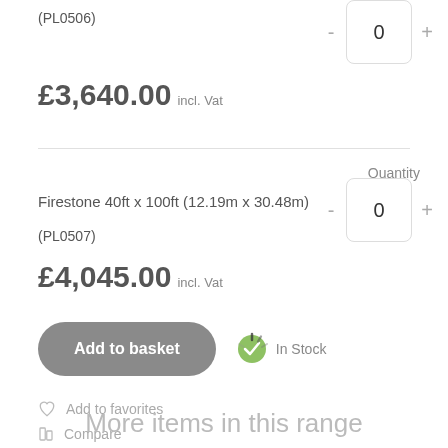(PL0506)
£3,640.00 incl. Vat
Quantity
Firestone 40ft x 100ft (12.19m x 30.48m)
(PL0507)
£4,045.00 incl. Vat
Add to basket
In Stock
Add to favorites
Compare
More items in this range